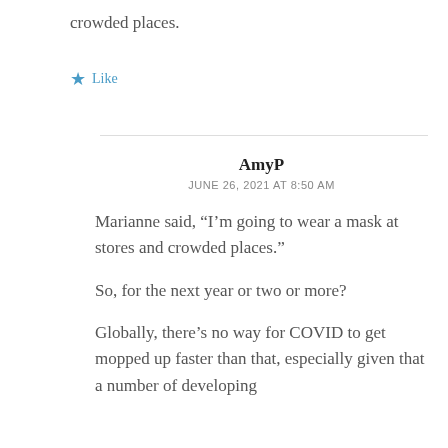crowded places.
Like
AmyP
JUNE 26, 2021 AT 8:50 AM
Marianne said, “I’m going to wear a mask at stores and crowded places.”
So, for the next year or two or more?
Globally, there’s no way for COVID to get mopped up faster than that, especially given that a number of developing